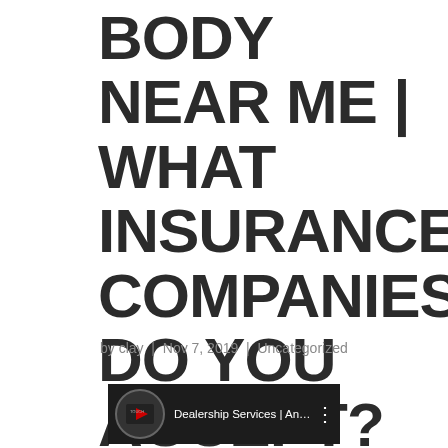BODY NEAR ME | WHAT INSURANCE COMPANIES DO YOU ACCEPT?
by clay | Nov 7, 2019 | Uncategorized
[Figure (screenshot): YouTube video thumbnail showing 'Dealership Services | Angels...' with a circular logo on dark background and a three-dot menu icon]